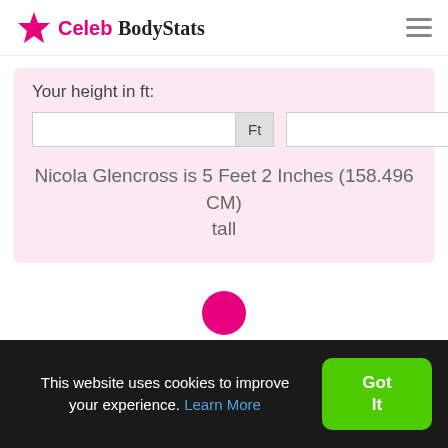Celeb BodyStats
Your height in ft:
Nicola Glencross is 5 Feet 2 Inches (158.496 CM) tall
[Figure (illustration): Pink person silhouette icon showing head and shoulders]
This website uses cookies to improve your experience. Learn More
Got It